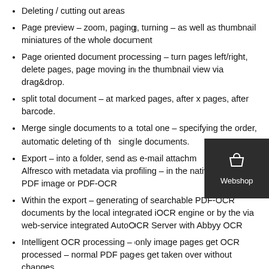Deleting / cutting out areas
Page preview – zoom, paging, turning – as well as thumbnail miniatures of the whole document
Page oriented document processing – turn pages left/right, delete pages, page moving in the thumbnail view via drag&drop.
split total document – at marked pages, after x pages, after barcode.
Merge single documents to a total one – specifying the order, automatic deleting of the single documents.
Export – into a folder, send as e-mail attachment, store into Alfresco with metadata via profiling – in the native format as PDF image or PDF-OCR
Within the export – generating of searchable PDF-OCR documents by the local integrated iOCR engine or by the via web-service integrated AutoOCR Server with Abbyy OCR
Intelligent OCR processing – only image pages get OCR processed – normal PDF pages get taken over without changes.